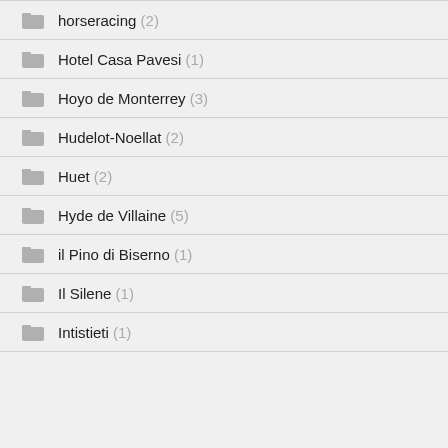horseracing (2)
Hotel Casa Pavesi (1)
Hoyo de Monterrey (3)
Hudelot-Noellat (2)
Huet (2)
Hyde de Villaine (5)
il Pino di Biserno (1)
Il Silene (1)
Intistieti (1)